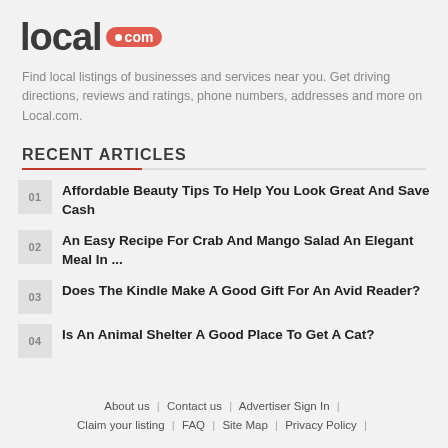[Figure (logo): local.com logo — 'local' in dark gray bold text followed by an orange-red pill badge with '.com']
Find local listings of businesses and services near you. Get driving directions, reviews and ratings, phone numbers, addresses and more on Local.com.
RECENT ARTICLES
01 Affordable Beauty Tips To Help You Look Great And Save Cash
02 An Easy Recipe For Crab And Mango Salad An Elegant Meal In ...
03 Does The Kindle Make A Good Gift For An Avid Reader?
04 Is An Animal Shelter A Good Place To Get A Cat?
About us | Contact us | Advertiser Sign In | Claim your listing | FAQ | Site Map | Privacy Policy |